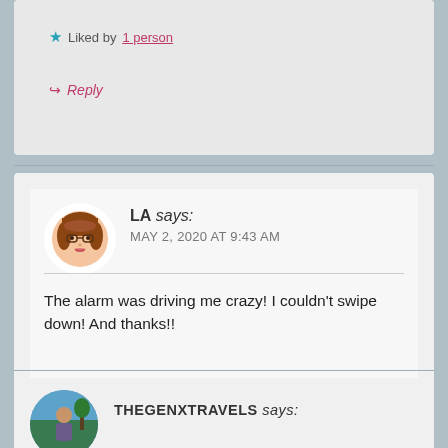★ Liked by 1 person
↪ Reply
LA says: MAY 2, 2020 AT 9:43 AM
The alarm was driving me crazy! I couldn't swipe down! And thanks!!
★ Liked by 1 person
↪ Reply
THEGENXTRAVELS says: